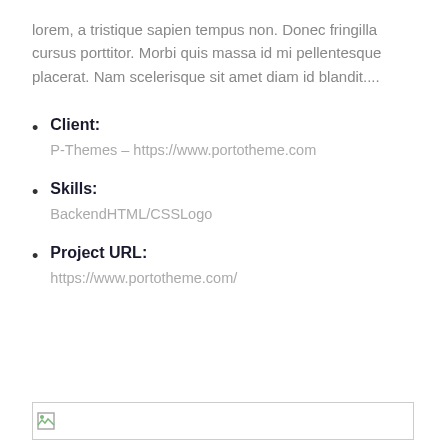lorem, a tristique sapien tempus non. Donec fringilla cursus porttitor. Morbi quis massa id mi pellentesque placerat. Nam scelerisque sit amet diam id blandit....
Client:
P-Themes – https://www.portotheme.com
Skills:
BackendHTML/CSSLogo
Project URL:
https://www.portotheme.com/
[Figure (other): Broken/placeholder image at bottom of page]